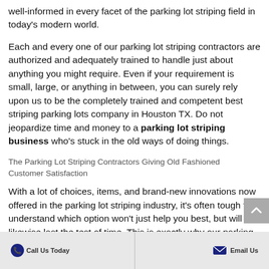well-informed in every facet of the parking lot striping field in today's modern world.
Each and every one of our parking lot striping contractors are authorized and adequately trained to handle just about anything you might require. Even if your requirement is small, large, or anything in between, you can surely rely upon us to be the completely trained and competent best striping parking lots company in Houston TX. Do not jeopardize time and money to a parking lot striping business who's stuck in the old ways of doing things.
The Parking Lot Striping Contractors Giving Old Fashioned Customer Satisfaction
With a lot of choices, items, and brand-new innovations now offered in the parking lot striping industry, it's often tough to understand which option won't just help you best, but will likewise last the test of time. This is exactly why our parking lot striping